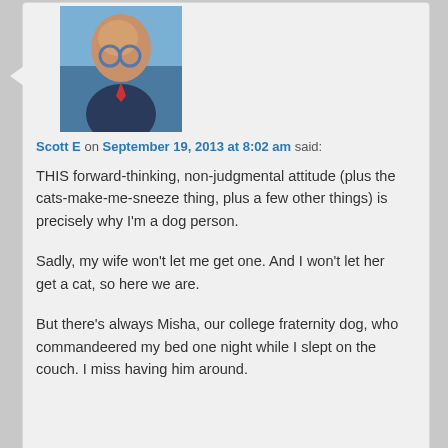[Figure (photo): Avatar photo of a bald man with glasses against a blue sky background]
Scott E on September 19, 2013 at 8:02 am said:
THIS forward-thinking, non-judgmental attitude (plus the cats-make-me-sneeze thing, plus a few other things) is precisely why I'm a dog person.

Sadly, my wife won't let me get one. And I won't let her get a cat, so here we are.

But there's always Misha, our college fraternity dog, who commandeered my bed one night while I slept on the couch. I miss having him around.
[Figure (photo): Avatar photo showing a close-up of a person's eye/forehead]